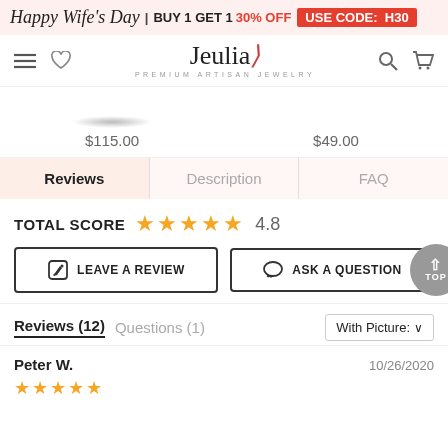Happy Wife's Day | BUY 1 GET 1 30% OFF USE CODE: H30
[Figure (screenshot): Jeulia jewelry website navigation bar with hamburger menu, heart icon, Jeulia logo (Premium Artisan Jewelry), search icon, and cart icon]
$115.00
$49.00
Reviews | Description | FAQ
TOTAL SCORE  4.8
LEAVE A REVIEW
ASK A QUESTION
Reviews (12)  Questions (1)  With Picture:
Peter W.
10/26/2020